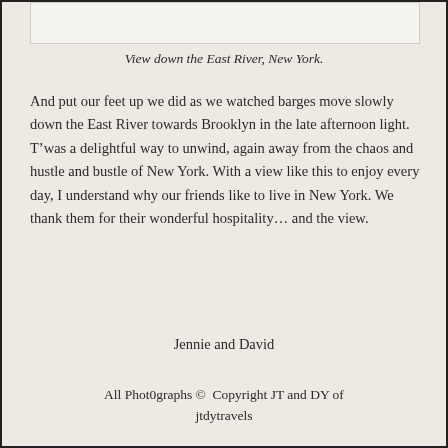[Figure (photo): Partial view of a photograph at the top of the page, cropped — showing the bottom edge of an image of the East River, New York.]
View down the East River, New York.
And put our feet up we did as we watched barges move slowly down the East River towards Brooklyn in the late afternoon light. T’was a delightful way to unwind, again away from the chaos and hustle and bustle of New York. With a view like this to enjoy every day, I understand why our friends like to live in New York. We thank them for their wonderful hospitality… and the view.
Jennie and David
All Phot0graphs ©  Copyright JT and DY of jtdytravels